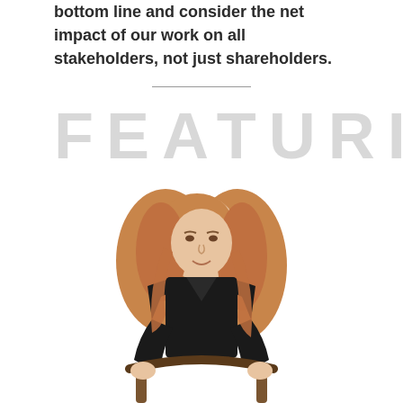bottom line and consider the net impact of our work on all stakeholders, not just shareholders.
[Figure (photo): A young woman with long reddish-blonde hair, wearing a black top, leaning on the back of a wooden chair, photographed against a white background.]